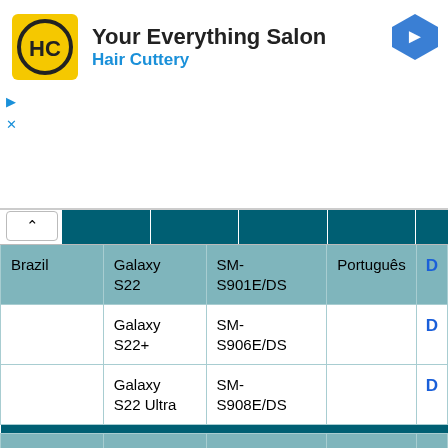[Figure (logo): Hair Cuttery logo - yellow square with HC letters in black circle]
Your Everything Salon
Hair Cuttery
[Figure (other): Blue diamond navigation arrow icon]
|  |  |  |  |  |
| --- | --- | --- | --- | --- |
| Brazil | Galaxy S22 | SM-S901E/DS | Português | D |
|  | Galaxy S22+ | SM-S906E/DS |  | D |
|  | Galaxy S22 Ultra | SM-S908E/DS |  | D |
| Canada | Galaxy S22 | SM-S901B/DS | English | D |
|  | Galaxy S22+ | SM-S906B/DS |  | D |
|  | Galaxy S22 Ultra | SM-S908B/DS |  | D |